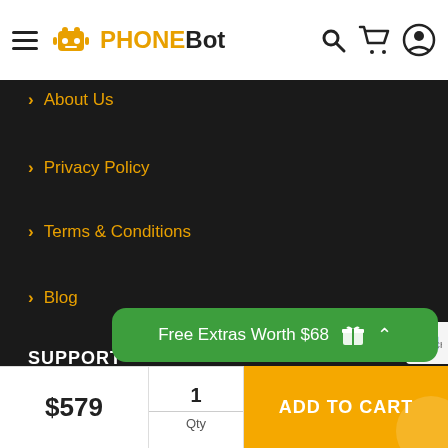PHONEBOT
About Us
Privacy Policy
Terms & Conditions
Blog
SUPPORT
Delivery
[Figure (screenshot): Free Extras Worth $68 promotional green bar with gift icon and chevron]
$579  1 Qty  ADD TO CART